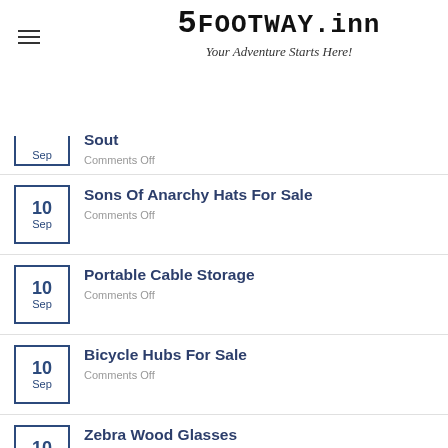[Figure (logo): 5FOOTWAY.inn logo with tagline 'Your Adventure Starts Here!']
Sout | Comments Off
Sons Of Anarchy Hats For Sale | Comments Off
Portable Cable Storage | Comments Off
Bicycle Hubs For Sale | Comments Off
Zebra Wood Glasses | Comments Off
Rj11 Telephone Plug | Comments Off
Atmosphere T Shirt Hip Hop